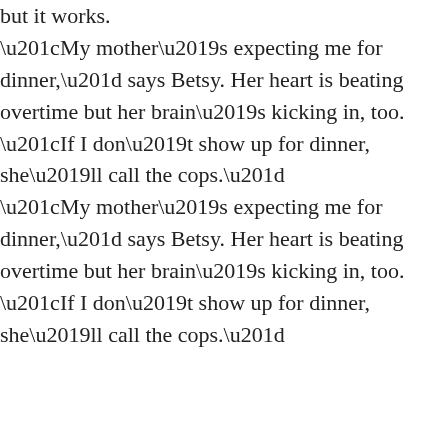but it works.
“My mother’s expecting me for dinner,” says Betsy. Her heart is beating overtime but her brain’s kicking in, too. “If I don’t show up for dinner, she’ll call the cops.”
Suddenly Butch smiles real sick and sweet. “You look like dessert. You taste like dessert, too?”
The music’s getting louder. Any second now the Good Humor truck with its white cab and freezer full of ice cream is going to turn onto their street. The moment Butch’s hand